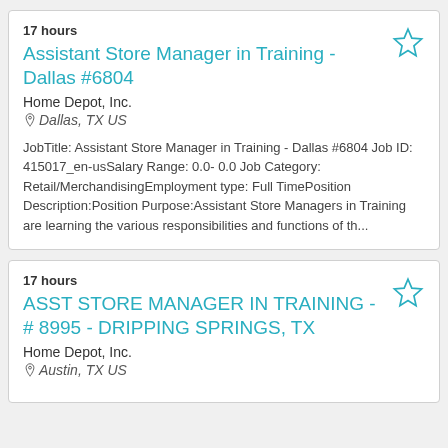17 hours
Assistant Store Manager in Training - Dallas #6804
Home Depot, Inc.
Dallas, TX US
JobTitle: Assistant Store Manager in Training - Dallas #6804 Job ID: 415017_en-usSalary Range: 0.0- 0.0 Job Category: Retail/MerchandisingEmployment type: Full TimePosition Description:Position Purpose:Assistant Store Managers in Training are learning the various responsibilities and functions of th...
17 hours
ASST STORE MANAGER IN TRAINING - # 8995 - DRIPPING SPRINGS, TX
Home Depot, Inc.
Austin, TX US